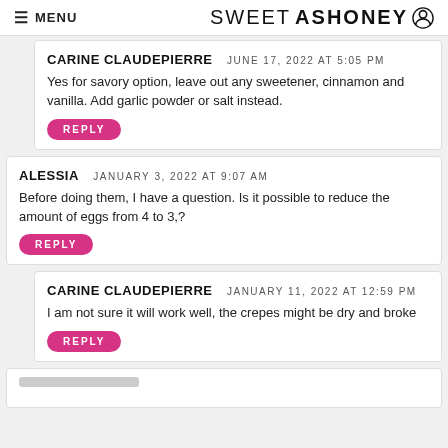MENU | SWEETASHONEY
CARINE CLAUDEPIERRE — JUNE 17, 2022 AT 5:05 PM
Yes for savory option, leave out any sweetener, cinnamon and vanilla. Add garlic powder or salt instead.
ALESSIA — JANUARY 3, 2022 AT 9:07 AM
Before doing them, I have a question. Is it possible to reduce the amount of eggs from 4 to 3,?
CARINE CLAUDEPIERRE — JANUARY 11, 2022 AT 12:59 PM
I am not sure it will work well, the crepes might be dry and broke